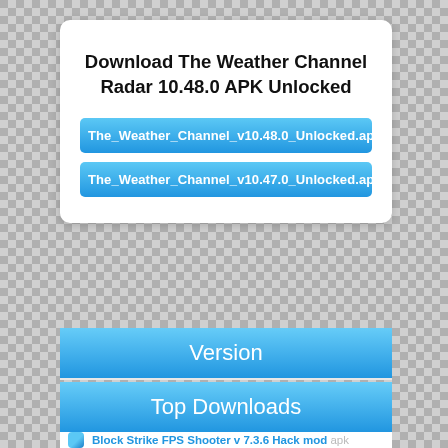Download The Weather Channel Radar 10.48.0 APK Unlocked
The_Weather_Channel_v10.48.0_Unlocked.apk
The_Weather_Channel_v10.47.0_Unlocked.apk
Version
Top Downloads
Block Strike FPS Shooter v 7.3.6 Hack mod apk